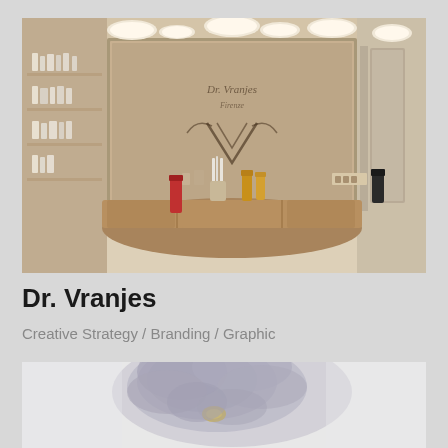[Figure (photo): Interior of Dr. Vranjes store showing a curved wooden reception desk, glass display case with etched brand logo, product shelves on the left wall stocked with fragrance bottles, and recessed circular ceiling lights. Warm beige tones throughout.]
Dr. Vranjes
Creative Strategy / Branding / Graphic
[Figure (photo): Close-up blurred photo of a grey/lavender flower or soft fabric with a small yellow accent, on a light background. Partial view, cut off at bottom.]